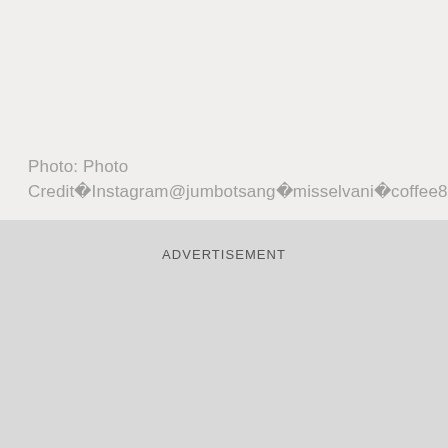Photo: Photo Credit⁣Instagram@jumbotsang⁣misselvani⁣coffee89921⁣judy.kwong
ADVERTISEMENT